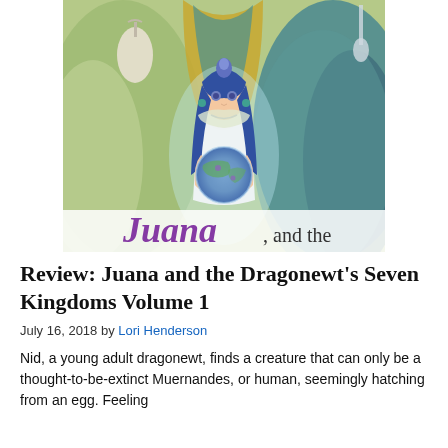[Figure (illustration): Book cover of 'Juana and the Dragonewt's Seven Kingdoms Volume 1' showing an anime-style girl with long dark blue hair holding a glowing orb, surrounded by large dragon-like creatures. Text at the bottom reads 'Juana and the' in stylized lettering.]
Review: Juana and the Dragonewt's Seven Kingdoms Volume 1
July 16, 2018 by Lori Henderson
Nid, a young adult dragonewt, finds a creature that can only be a thought-to-be-extinct Muernandes, or human, seemingly hatching from an egg. Feeling